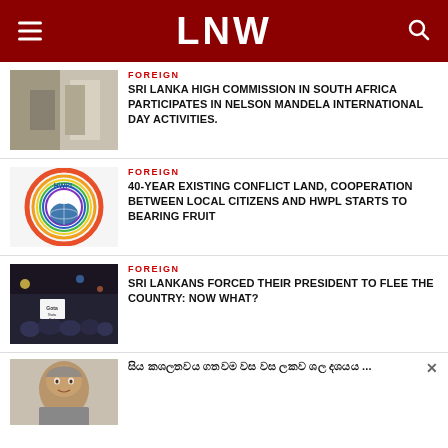LNW
FOREIGN
SRI LANKA HIGH COMMISSION IN SOUTH AFRICA PARTICIPATES IN NELSON MANDELA INTERNATIONAL DAY ACTIVITIES.
FOREIGN
40-YEAR EXISTING CONFLICT LAND, COOPERATION BETWEEN LOCAL CITIZENS AND HWPL STARTS TO BEARING FRUIT
FOREIGN
SRI LANKANS FORCED THEIR PRESIDENT TO FLEE THE COUNTRY: NOW WHAT?
සිය ක ශ ල ත ව ය ගත ව ම ව ස ව ස ල ක ව ශ ල ද ශ ය ය ...